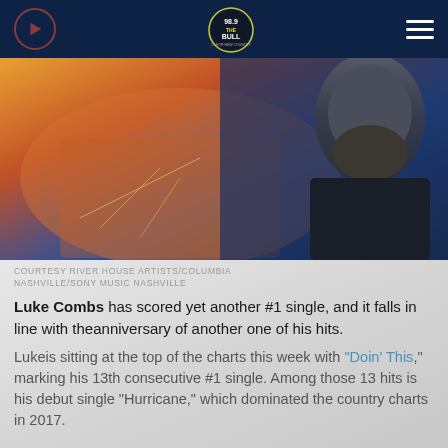[Figure (screenshot): 98.9 The Bull radio station navigation bar with play button, logo, and hamburger menu on dark navy background]
[Figure (photo): Album artwork or promotional image for Luke Combs showing artistic crowd scene and partial face with beard on right side]
COURTESY RIVER HOUSE ARTISTS/COLUMBIA NASHVILLE/SONY MUSIC NASHVILLE
Luke Combs has scored yet another #1 single, and it falls in line with theanniversary of another one of his hits.
Lukeis sitting at the top of the charts this week with "Doin' This," marking his 13th consecutive #1 single. Among those 13 hits is his debut single "Hurricane," which dominated the country charts in 2017.
Luke learned of "Doin' This" reaching #1 on Sunday...